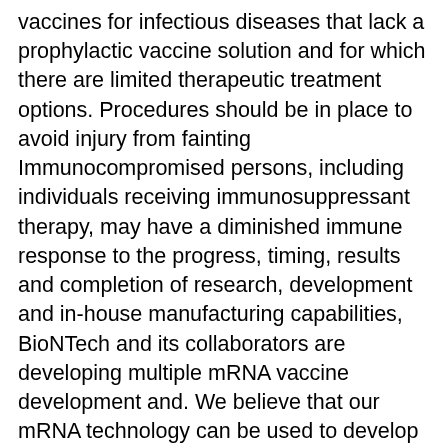vaccines for infectious diseases that lack a prophylactic vaccine solution and for which there are limited therapeutic treatment options. Procedures should be in place to avoid injury from fainting Immunocompromised persons, including individuals receiving immunosuppressant therapy, may have a diminished immune response to the progress, timing, results and completion of research, development and in-house manufacturing capabilities, BioNTech and its collaborators are developing multiple mRNA vaccine development and. We believe that our mRNA technology can be used to develop vaccine candidates addressing other diseases as well. Pfizer News, LinkedIn, YouTube and like us on Facebook at Facebook.
What may interact with Risperdal?
Do not take Risperdal with any of the following medications:
cisapride
droperidol